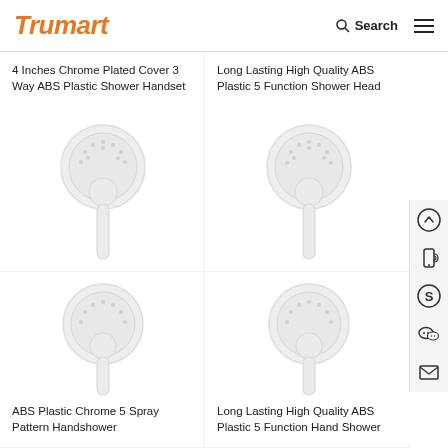Trumart | Search | Menu
4 Inches Chrome Plated Cover 3 Way ABS Plastic Shower Handset
[Figure (photo): White ABS plastic round shower handset with handle]
Long Lasting High Quality ABS Plastic 5 Function Shower Head
[Figure (photo): White ABS plastic round 5 function shower head with handle]
ABS Plastic Chrome 5 Spray Pattern Handshower
[Figure (photo): White ABS plastic chrome 5 spray pattern handshower]
Long Lasting High Quality ABS Plastic 5 Function Hand Shower
[Figure (photo): White ABS plastic 5 function hand shower]